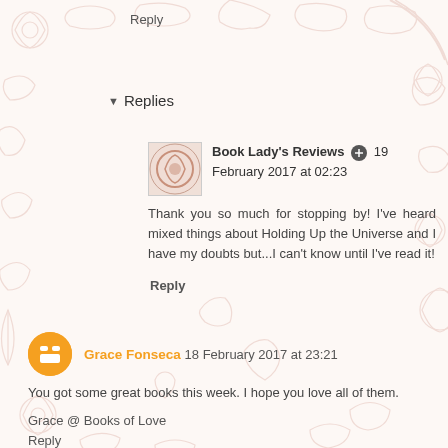Reply
Replies
Book Lady's Reviews  19 February 2017 at 02:23
Thank you so much for stopping by! I've heard mixed things about Holding Up the Universe and I have my doubts but...I can't know until I've read it!
Reply
Grace Fonseca  18 February 2017 at 23:21
You got some great books this week. I hope you love all of them.
Grace @ Books of Love
Reply